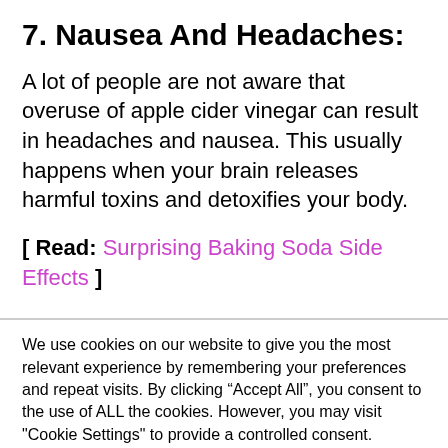7. Nausea And Headaches:
A lot of people are not aware that overuse of apple cider vinegar can result in headaches and nausea. This usually happens when your brain releases harmful toxins and detoxifies your body.
[ Read: Surprising Baking Soda Side Effects ]
We use cookies on our website to give you the most relevant experience by remembering your preferences and repeat visits. By clicking “Accept All”, you consent to the use of ALL the cookies. However, you may visit "Cookie Settings" to provide a controlled consent.